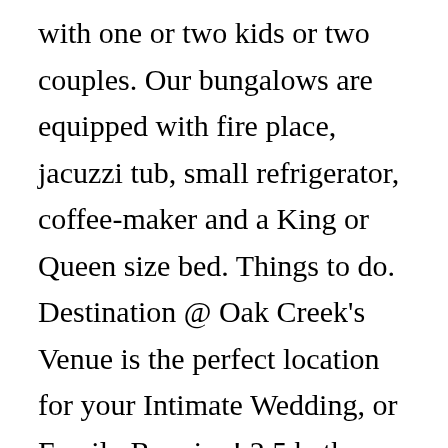with one or two kids or two couples. Our bungalows are equipped with fire place, jacuzzi tub, small refrigerator, coffee-maker and a King or Queen size bed. Things to do. Destination @ Oak Creek's Venue is the perfect location for your Intimate Wedding, or Family Reunion! 2.5 baths. Explore an array of Oak Creek, CO vacation rentals, including houses, townhome and townhouse vacation rentals & more bookable online. Each one is a little different. Stays. Cars. Book your cabin. Live Oak Creek Cabins. Book It. I love it